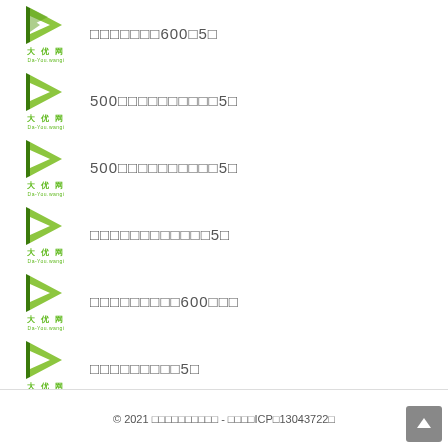□□□□□□□600□5□
500□□□□□□□□□□5□
500□□□□□□□□□□5□
□□□□□□□□□□□□5□
□□□□□□□□□600□□□
□□□□□□□□□5□
© 2021 □□□□□□□□□□ - □□□□ICP□13043722□